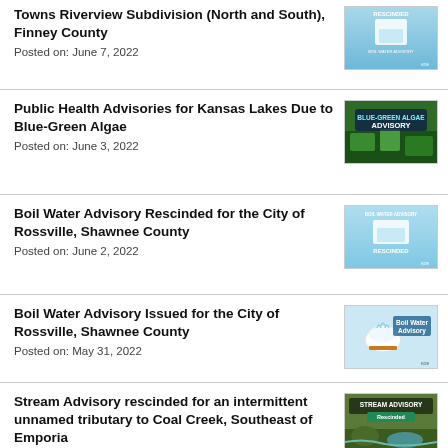Towns Riverview Subdivision (North and South), Finney County
Posted on: June 7, 2022
Public Health Advisories for Kansas Lakes Due to Blue-Green Algae
Posted on: June 3, 2022
Boil Water Advisory Rescinded for the City of Rossville, Shawnee County
Posted on: June 2, 2022
Boil Water Advisory Issued for the City of Rossville, Shawnee County
Posted on: May 31, 2022
Stream Advisory rescinded for an intermittent unnamed tributary to Coal Creek, Southeast of Emporia
Posted on: May 31, 2022